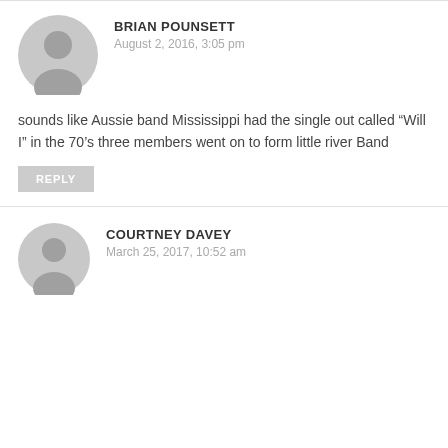BRIAN POUNSETT
August 2, 2016, 3:05 pm
sounds like Aussie band Mississippi had the single out called “Will I” in the 70’s three members went on to form little river Band
REPLY
COURTNEY DAVEY
March 25, 2017, 10:52 am